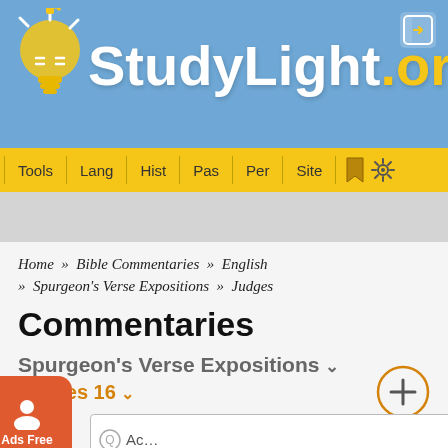[Figure (logo): StudyLight.org website header with blue background, light bulb icon, and yellow/gold .org text]
Tools | Lang | Hist | Pas | Per | Site
Home » Bible Commentaries » English » Spurgeon's Verse Expositions » Judges
Commentaries
Spurgeon's Verse Expositions
Judges 16
[Figure (other): Ads Free badge (orange rounded square with person icon)]
Ac...